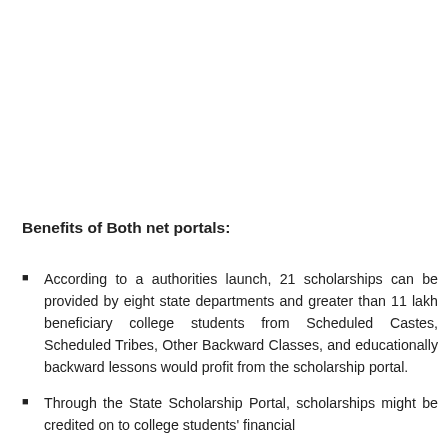Benefits of Both net portals:
According to a authorities launch, 21 scholarships can be provided by eight state departments and greater than 11 lakh beneficiary college students from Scheduled Castes, Scheduled Tribes, Other Backward Classes, and educationally backward lessons would profit from the scholarship portal.
Through the State Scholarship Portal, scholarships might be credited on to college students' financial...